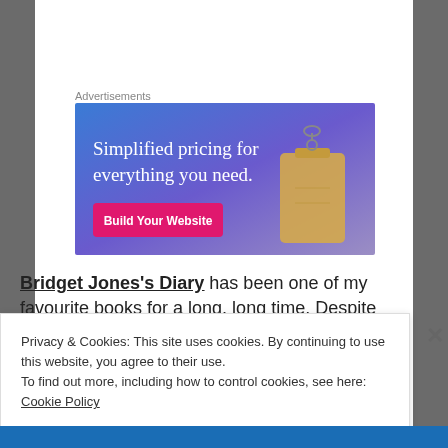Advertisements
[Figure (illustration): Advertisement banner with gradient blue-purple background showing a price tag image and text 'Simplified pricing for everything you need.' with a pink 'Build Your Website' button]
Bridget Jones's Diary has been one of my favourite books for a long, long time. Despite it being part of a genre I tend to
Privacy & Cookies: This site uses cookies. By continuing to use this website, you agree to their use.
To find out more, including how to control cookies, see here: Cookie Policy
Close and accept